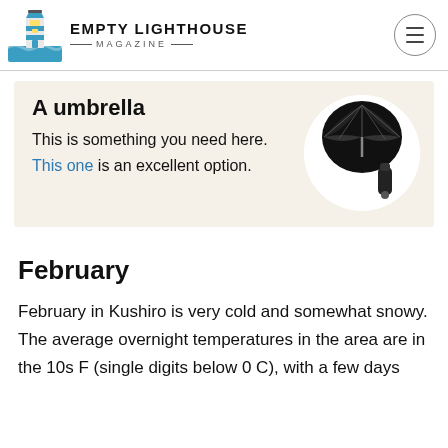EMPTY LIGHTHOUSE MAGAZINE
A umbrella
This is something you need here. This one is an excellent option.
[Figure (photo): A black folding umbrella shown open and collapsed, displayed against a white circular background]
February
February in Kushiro is very cold and somewhat snowy. The average overnight temperatures in the area are in the 10s F (single digits below 0 C), with a few days